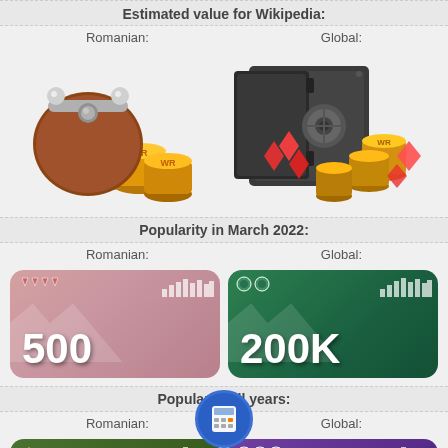Estimated value for Wikipedia:
Romanian:
Global:
[Figure (illustration): A brown coin purse with gold coins next to it (Romanian value illustration)]
[Figure (illustration): A metal safe with gold coins and gems spilling out (Global value illustration)]
Popularity in March 2022:
Romanian:
Global:
[Figure (infographic): Pink/rose colored card showing '500' - Romanian popularity in March 2022]
[Figure (infographic): Green colored card showing '200K' - Global popularity in March 2022]
Popularity all years:
Romanian:
Global:
[Figure (infographic): Olive/green colored card - Romanian popularity all years (partially visible)]
[Figure (infographic): Purple colored card - Global popularity all years (partially visible)]
[Figure (illustration): Blue circular calculator icon overlaid at bottom center]